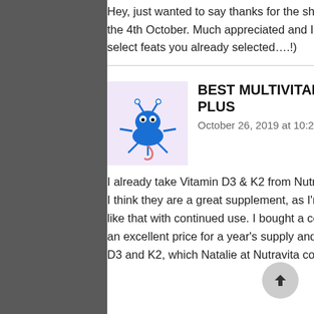Hey, just wanted to say thanks for the shout out you guys did for Pathbuilder 2e on your podcast on the 4th October. Much appreciated and I'm glad you find it useful (as long as you're not trying to select feats you already selected….!)
BEST MULTIVITAMIN UK PLUS  ↩ REPLY TO BEST
October 26, 2019 at 10:20 pm
I already take Vitamin D3 & K2 from Nutravita and have done for some time.
I think they are a great supplement, as I'm generally free from ailments and I really hope to keep it like that with continued use. I bought a container of Nutravita's Vitamins and Minerals as these were an excellent price for a year's supply and I have started initially to utilize them as an inclusion to the D3 and K2, which Natalie at Nutravita confirmed was fine to do.